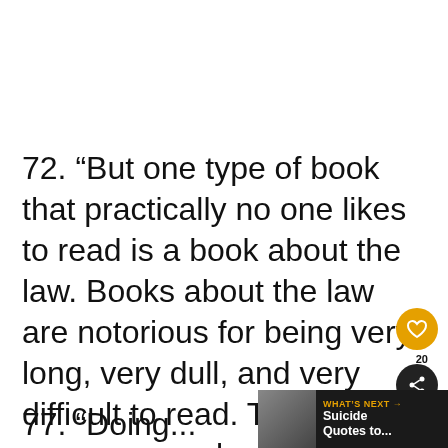72. “But one type of book that practically no one likes to read is a book about the law. Books about the law are notorious for being very long, very dull, and very difficult to read. This is one reason many lawyers make heaps of money.” – Lemony Snicket
77. “Doing...